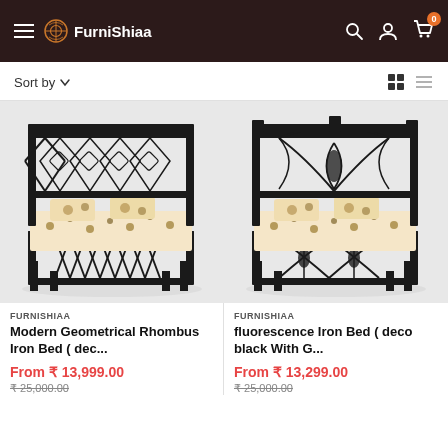FurniShiaa
Sort by
[Figure (photo): Metal bed with geometric rhombus pattern headboard and footboard, with floral bedding, on grey background]
[Figure (photo): Metal bed with leaf/arc design headboard and footboard (fluorescence/deco black style), with floral bedding, on grey background]
FURNISHIAA
Modern Geometrical Rhombus Iron Bed ( dec...
From ₹ 13,999.00
₹ 25,000.00
FURNISHIAA
fluorescence Iron Bed ( deco black With G...
From ₹ 13,299.00
₹ 25,000.00